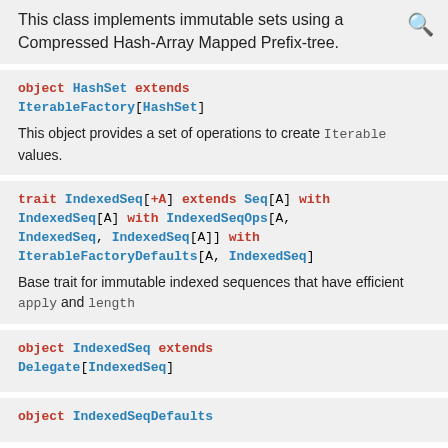This class implements immutable sets using a Compressed Hash-Array Mapped Prefix-tree.
object HashSet extends IterableFactory[HashSet]
This object provides a set of operations to create Iterable values.
trait IndexedSeq[+A] extends Seq[A] with IndexedSeq[A] with IndexedSeqOps[A, IndexedSeq, IndexedSeq[A]] with IterableFactoryDefaults[A, IndexedSeq]
Base trait for immutable indexed sequences that have efficient apply and length
object IndexedSeq extends Delegate[IndexedSeq]
object IndexedSeqDefaults
trait IndexedSeqOps[+A, +CC[_], +C] extends SeqOps[A, CC, C] with IndexedSeqOps[A, CC,